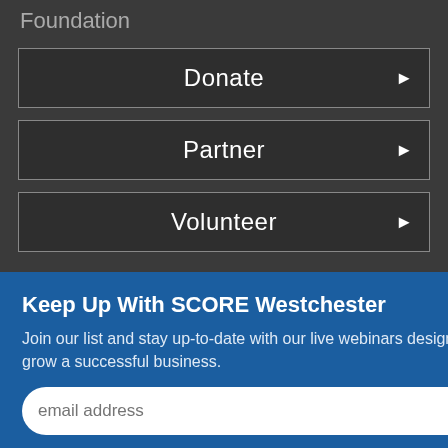Foundation
Donate ▶
Partner ▶
Volunteer ▶
[Figure (screenshot): Popup modal with blue background titled 'Keep Up With SCORE Westchester' containing a description about joining a mailing list for live webinars, an email address input field, and a SUBMIT button. A close (×) button is in the top-right corner of the popup.]
opinions, and/or recommendations expressed herein are those of the author(s) and do not necessarily reflect the views of the SBA.